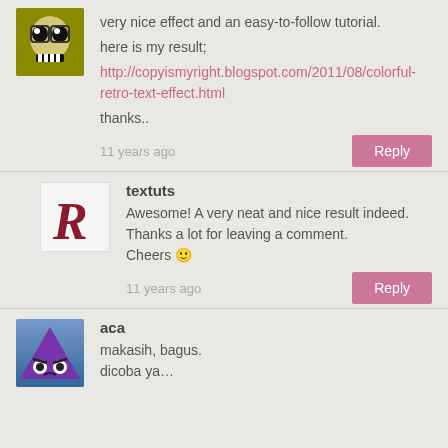very nice effect and an easy-to-follow tutorial.
here is my result;
http://copyismyright.blogspot.com/2011/08/colorful-retro-text-effect.html
thanks..
11 years ago
Reply
textuts
Awesome! A very neat and nice result indeed. Thanks a lot for leaving a comment. Cheers 🙂
11 years ago
Reply
aca
makasih, bagus.
dicoba ya…